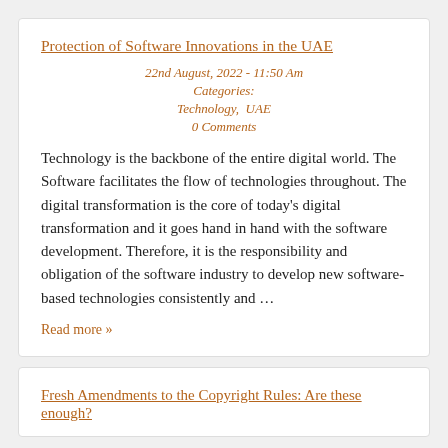Protection of Software Innovations in the UAE
22nd August, 2022 - 11:50 Am
Categories:
Technology,  UAE
0 Comments
Technology is the backbone of the entire digital world. The Software facilitates the flow of technologies throughout. The digital transformation is the core of today’s digital transformation and it goes hand in hand with the software development. Therefore, it is the responsibility and obligation of the software industry to develop new software-based technologies consistently and …
Read more »
Fresh Amendments to the Copyright Rules: Are these enough?